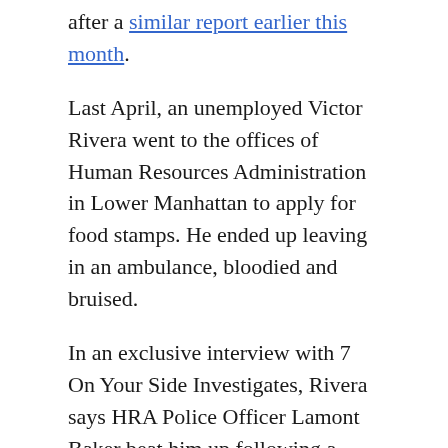after a similar report earlier this month.
Last April, an unemployed Victor Rivera went to the offices of Human Resources Administration in Lower Manhattan to apply for food stamps. He ended up leaving in an ambulance, bloodied and bruised.
In an exclusive interview with 7 On Your Side Investigates, Rivera says HRA Police Officer Lamont Baker beat him up following a heated verbal exchange.
"You know, as a peace officer, your job is to make peace, not try to obstruct peace," he said. "(Baker) wasn't trying to hear my side of the story, so he threw me up against the wall, placed me in handcuffs."